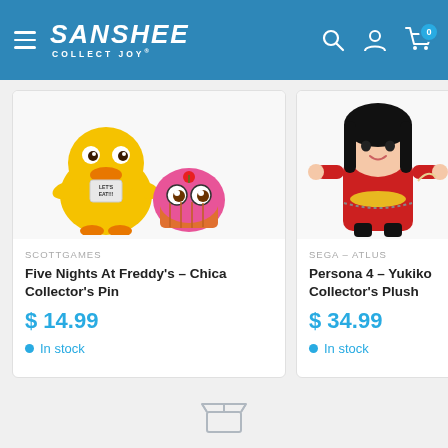Sanshee - Collect Joy
[Figure (illustration): Five Nights at Freddy's Chica Collector's Pin product image showing cartoon yellow duck character with 'Let's Eat!!!' text and pink cupcake character with eyes]
SCOTTGAMES
Five Nights At Freddy's – Chica Collector's Pin
$ 14.99
In stock
[Figure (photo): Persona 4 Yukiko Collector's Plush product image showing anime-style plush doll with black hair and red outfit]
SEGA – ATLUS
Persona 4 – Yukiko Collector's Plush
$ 34.99
In stock
[Figure (illustration): Small icon or logo at bottom of page, open box/package icon in light gray]